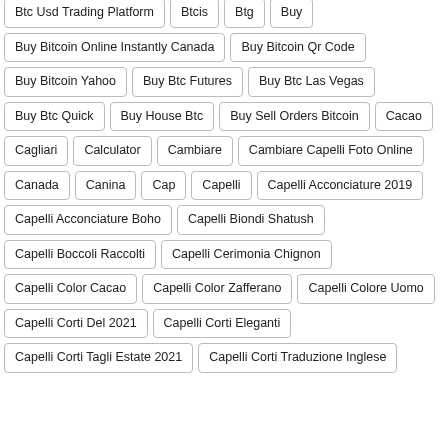Btc Usd Trading Platform
Btcis
Btg
Buy
Buy Bitcoin Online Instantly Canada
Buy Bitcoin Qr Code
Buy Bitcoin Yahoo
Buy Btc Futures
Buy Btc Las Vegas
Buy Btc Quick
Buy House Btc
Buy Sell Orders Bitcoin
Cacao
Cagliari
Calculator
Cambiare
Cambiare Capelli Foto Online
Canada
Canina
Cap
Capelli
Capelli Acconciature 2019
Capelli Acconciature Boho
Capelli Biondi Shatush
Capelli Boccoli Raccolti
Capelli Cerimonia Chignon
Capelli Color Cacao
Capelli Color Zafferano
Capelli Colore Uomo
Capelli Corti Del 2021
Capelli Corti Eleganti
Capelli Corti Tagli Estate 2021
Capelli Corti Traduzione Inglese